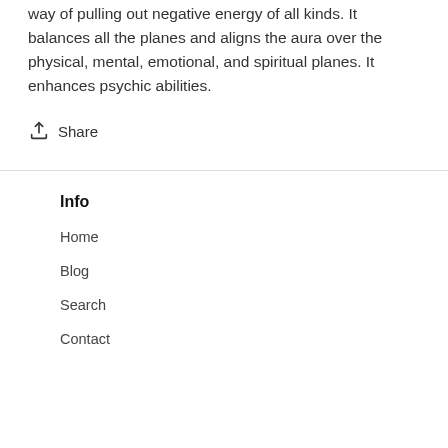way of pulling out negative energy of all kinds. It balances all the planes and aligns the aura over the physical, mental, emotional, and spiritual planes. It enhances psychic abilities.
Share
Info
Home
Blog
Search
Contact